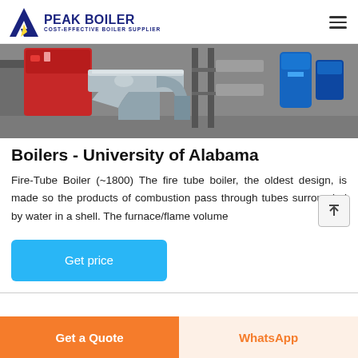PEAK BOILER COST-EFFECTIVE BOILER SUPPLIER
[Figure (photo): Industrial boiler with red casing, metallic pipes and ductwork, in a facility with blue equipment visible in background]
Boilers - University of Alabama
Fire-Tube Boiler (~1800) The fire tube boiler, the oldest design, is made so the products of combustion pass through tubes surrounded by water in a shell. The furnace/flame volume
Get a Quote | WhatsApp